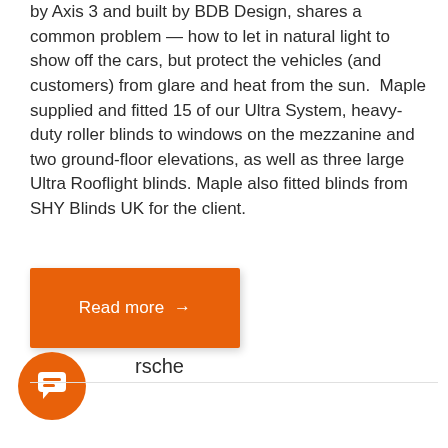by Axis 3 and built by BDB Design, shares a common problem — how to let in natural light to show off the cars, but protect the vehicles (and customers) from glare and heat from the sun.  Maple supplied and fitted 15 of our Ultra System, heavy-duty roller blinds to windows on the mezzanine and two ground-floor elevations, as well as three large Ultra Rooflight blinds. Maple also fitted blinds from SHY Blinds UK for the client.
Read more →
rsche